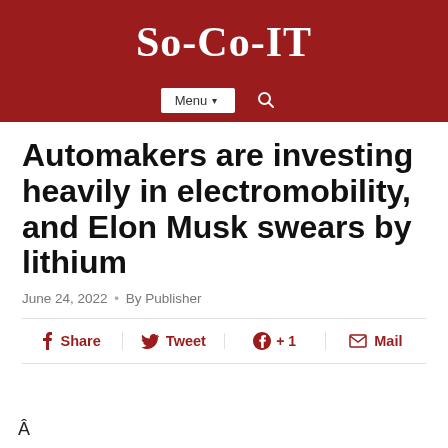So-Co-IT
Menu ▾  🔍
Automakers are investing heavily in electromobility, and Elon Musk swears by lithium
June 24, 2022 • By Publisher
f Share   Tweet   g+ +1   Mail
Â